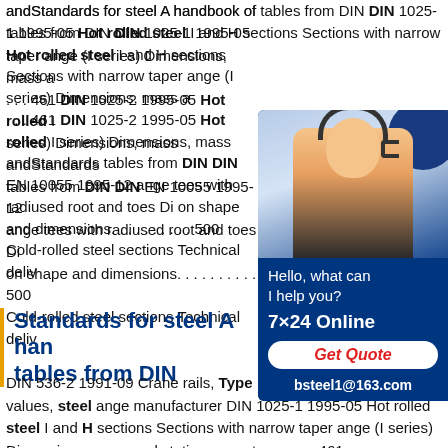andStandards for steel A handbook of tables from DIN DIN 1025-1 1995-05 Hot rolled steel I and H sections Sections with narrow taper ange (I series) Dimensions, mass a . . . 461 DIN 1025-2 1995-05 Hot rolled I series) Dimensions, mass andStandards tables from DIN DIN EN 10055 1995-12 ange tees with radiused root and toes Di on shape and dimensions. . . . . . . . . . 500 Cold-rolled steel sections Technical deliv
[Figure (photo): Advertisement box with dark blue background showing a woman wearing a headset. Text reads: Hello, what can I help you? 7×24 Online, Get Quote button, bsteel1@163.com]
Standards for steel A handbook of tables from DIN
DIN 536-2 1991-09 Crane rails, Type F (Flat) Dimensions, static values, steel ange manufacturer DIN 1025-1 1995-05 Hot rolled steel I and H sections Sections with narrow taper ange (I series) Dimensions, mass and static parameters. . . . . 461 ange manufacturer DIN EN 10034 1994-03 Structural steel I and H